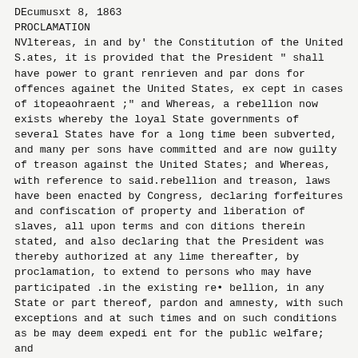DEcumusxt 8, 1863
PROCLAMATION
NVltereas, in and by' the Constitution of the United S.ates, it is provided that the President " shall have power to grant renrieven and par dons for offences againet the United States, ex cept in cases of itopeaohraent ;" and Whereas, a rebellion now exists whereby the loyal State governments of several States have for a long time been subverted, and many per sons have committed and are now guilty of treason against the United States; and Whereas, with reference to said.rebellion and treason, laws have been enacted by Congress, declaring forfeitures and confiscation of property and liberation of slaves, all upon terms and con ditions therein stated, and also declaring that the President was thereby authorized at any lime thereafter, by proclamation, to extend to persons who may have participated .in the existing re• bellion, in any State or part thereof, pardon and amnesty, with such exceptions and at such times and on such conditions as be may deem expedi ent for the public welfare; and